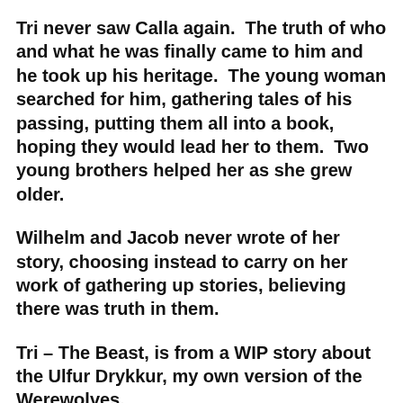Tri never saw Calla again.  The truth of who and what he was finally came to him and he took up his heritage.  The young woman searched for him, gathering tales of his passing, putting them all into a book, hoping they would lead her to them.  Two young brothers helped her as she grew older.
Wilhelm and Jacob never wrote of her story, choosing instead to carry on her work of gathering up stories, believing there was truth in them.
Tri – The Beast, is from a WIP story about the Ulfur Drykkur, my own version of the Werewolves.
Calla – Reprises her role in the retelling of Beauty and the Beast.  Look for her late next